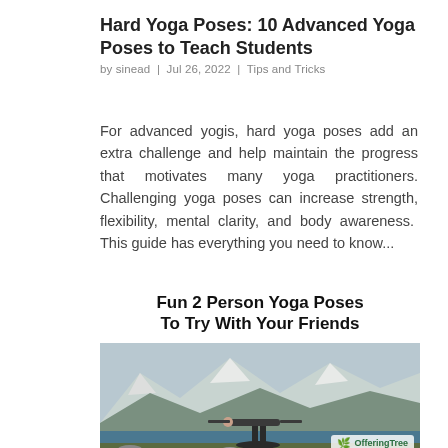Hard Yoga Poses: 10 Advanced Yoga Poses to Teach Students
by sinead | Jul 26, 2022 | Tips and Tricks
For advanced yogis, hard yoga poses add an extra challenge and help maintain the progress that motivates many yoga practitioners. Challenging yoga poses can increase strength, flexibility, mental clarity, and body awareness.  This guide has everything you need to know...
[Figure (photo): Promotional image for 'Fun 2 Person Yoga Poses To Try With Your Friends' showing two people performing acro-yoga in front of a mountain lake landscape, with an OfferingTree logo badge.]